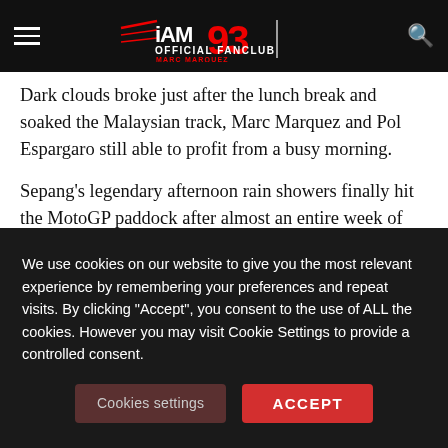iAM93 Official Fanclub Marc Marquez
Dark clouds broke just after the lunch break and soaked the Malaysian track, Marc Marquez and Pol Espargaro still able to profit from a busy morning.
Sepang's legendary afternoon rain showers finally hit the MotoGP paddock after almost an entire week of uninterrupted running on Sunday, the final day of the first pre-season test. Hitting just as the Repsol Honda Team were returning from their mid-test break, the
We use cookies on our website to give you the most relevant experience by remembering your preferences and repeat visits. By clicking "Accept", you consent to the use of ALL the cookies. However you may visit Cookie Settings to provide a controlled consent.